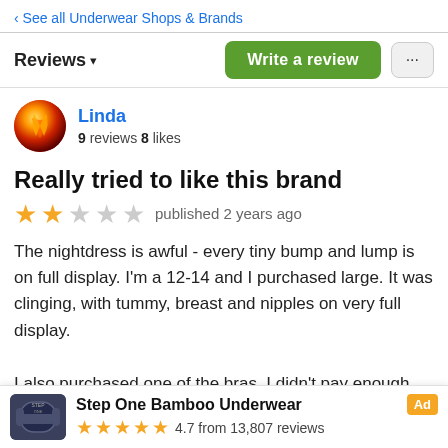‹ See all Underwear Shops & Brands
Reviews ▾
Write a review
Linda
9 reviews 8 likes
Really tried to like this brand
★★☆☆☆ published 2 years ago
The nightdress is awful - every tiny bump and lump is on full display. I'm a 12-14 and I purchased large. It was clinging, with tummy, breast and nipples on very full display.

I also purchased one of the bras. I didn't pay enough attention to the fine print on the website.
Step One Bamboo Underwear
★★★★★ 4.7 from 13,807 reviews
Ad